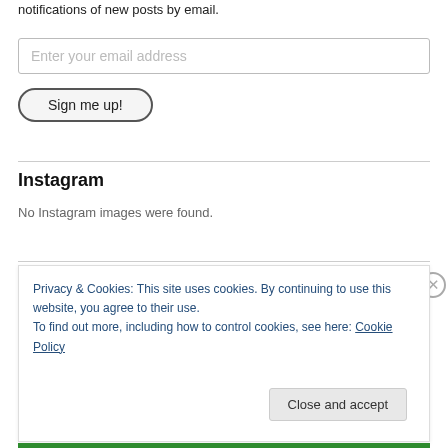notifications of new posts by email.
Enter your email address
Sign me up!
Instagram
No Instagram images were found.
Privacy & Cookies: This site uses cookies. By continuing to use this website, you agree to their use.
To find out more, including how to control cookies, see here: Cookie Policy
Close and accept